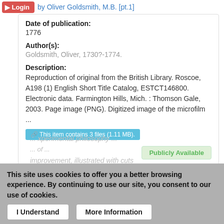by Oliver Goldsmith, M.B. [pt.1]
Date of publication:
1776
Author(s):
Goldsmith, Oliver, 1730?-1774.
Description:
Reproduction of original from the British Library. Roscoe, A198 (1) English Short Title Catalog, ESTCT146800. Electronic data. Farmington Hills, Mich. : Thomson Gale, 2003. Page image (PNG). Digitized image of the microfilm ...
This item contains 3 files (1.11 MB).
Publicly Available
This site uses cookies to offer you a better browsing experience. By continuing to use our site, you consent to our use of cookies.
I Understand
More Information